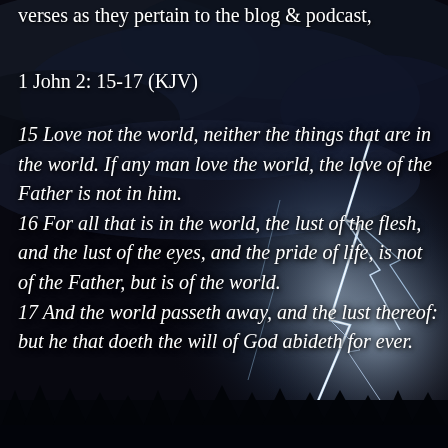[Figure (photo): Dark stormy sky with dramatic lightning bolts striking in the background, silhouette of trees at the bottom]
verses as they pertain to the blog & podcast,
1 John 2: 15-17 (KJV)
15 Love not the world, neither the things that are in the world. If any man love the world, the love of the Father is not in him.
16 For all that is in the world, the lust of the flesh, and the lust of the eyes, and the pride of life, is not of the Father, but is of the world.
17 And the world passeth away, and the lust thereof: but he that doeth the will of God abideth for ever.